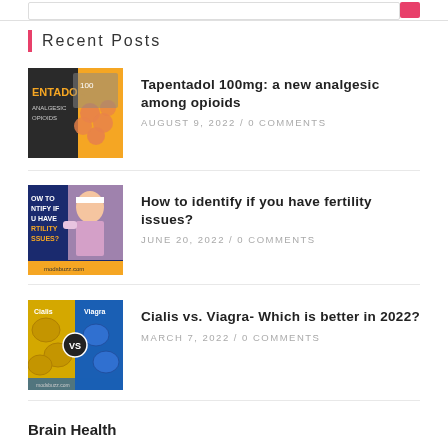Recent Posts
[Figure (photo): Orange pill packaging for Tapentadol analgesic with pills visible]
Tapentadol 100mg: a new analgesic among opioids
AUGUST 9, 2022 / 0 COMMENTS
[Figure (photo): Woman with headband appearing distressed, text overlay: HOW TO IDENTIFY IF YOU HAVE FERTILITY ISSUES? modsbuzz.com]
How to identify if you have fertility issues?
JUNE 20, 2022 / 0 COMMENTS
[Figure (photo): Cialis vs Viagra pills comparison image with VS badge]
Cialis vs. Viagra- Which is better in 2022?
MARCH 7, 2022 / 0 COMMENTS
Brain Health